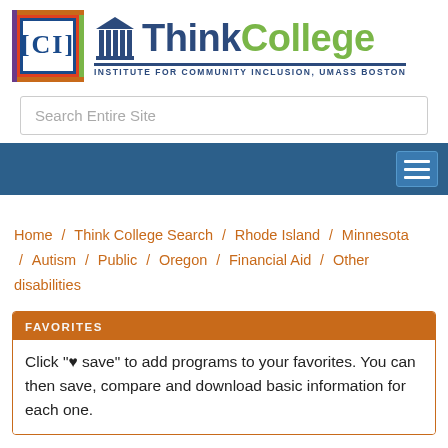[Figure (logo): ICI (Institute for Community Inclusion) and ThinkCollege logos side by side. ICI logo is a colorful square with letters ICI. ThinkCollege logo has a blue building/pillars icon followed by 'Think' in dark blue and 'College' in green, with subtitle 'INSTITUTE FOR COMMUNITY INCLUSION, UMASS BOSTON']
Search Entire Site
[Figure (screenshot): Dark blue navigation bar with a hamburger menu icon (three horizontal lines) on the right side]
Home / Think College Search / Rhode Island / Minnesota / Autism / Public / Oregon / Financial Aid / Other disabilities
FAVORITES
Click "♥ save" to add programs to your favorites. You can then save, compare and download basic information for each one.